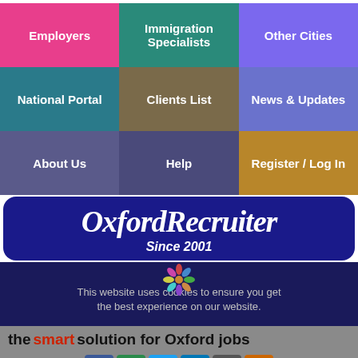[Figure (screenshot): Navigation grid with 9 colored cells: Employers (pink), Immigration Specialists (teal-blue), Other Cities (violet), National Portal (dark teal), Clients List (olive/brown), News & Updates (periwinkle), About Us (slate), Help (dark slate), Register / Log In (gold)]
[Figure (logo): OxfordRecruiter logo in script font on dark navy rounded banner, with 'Since 2001' subtitle]
This website uses cookies to ensure you get the best experience on our website.
the smart solution for Oxford jobs
Got it!